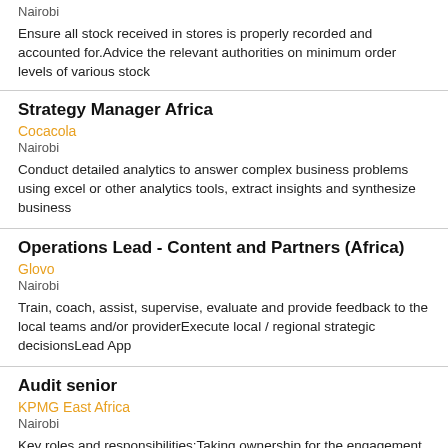Nairobi
Ensure all stock received in stores is properly recorded and accounted for.Advice the relevant authorities on minimum order levels of various stock
Strategy Manager Africa
Cocacola
Nairobi
Conduct detailed analytics to answer complex business problems using excel or other analytics tools, extract insights and synthesize business
Operations Lead - Content and Partners (Africa)
Glovo
Nairobi
Train, coach, assist, supervise, evaluate and provide feedback to the local teams and/or providerExecute local / regional strategic decisionsLead App
Audit senior
KPMG East Africa
Nairobi
Key roles and responsibilities:Taking ownership for the engagement from start to finish - initiating action, anticipating requirements and facilitating discussions,